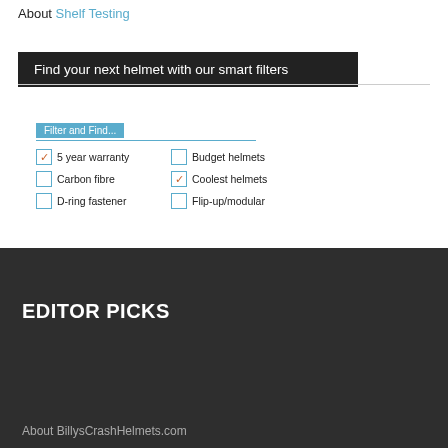About Shelf Testing
Find your next helmet with our smart filters
[Figure (screenshot): Filter and Find UI widget with checkboxes: 5 year warranty (checked), Budget helmets (unchecked), Carbon fibre (unchecked), Coolest helmets (checked), D-ring fastener (unchecked), Flip-up/modular (unchecked)]
EDITOR PICKS
About BillysCrashHelmets.com